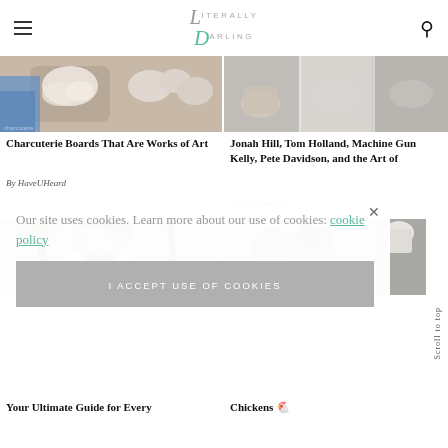Literally Darling
[Figure (photo): Charcuterie board with marshmallows in a basket and eggs, blue fabric]
Charcuterie Boards That Are Works of Art
By HaveUHeard
[Figure (photo): Hands wrapping or folding white fabric/material, collage of images]
Jonah Hill, Tom Holland, Machine Gun Kelly, Pete Davidson, and the Art of
By The Journiest
[Figure (photo): Woman in black top with open shirt, palm trees in background]
Your Ultimate Guide for Every
[Figure (photo): Decorative chickens on wooden board saying FRESH, gray textured background]
Chickens 🐔
Our site uses cookies. Learn more about our use of cookies: cookie policy
I ACCEPT USE OF COOKIES